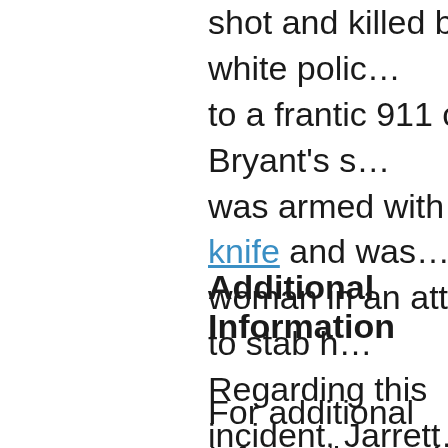shot and killed by a white polic… to a frantic 911 call by Bryant's s… was armed with a knife and was… woman in an attempt to stab h… Regarding this incident, Jarrett… Ma'Khia Bryant was killed beca… multiple times in order to brea… #BlackLivesMatter."
Additional Information
For additional Information on V…